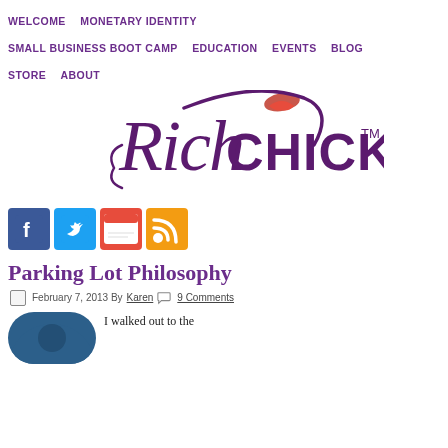WELCOME  MONETARY IDENTITY  SMALL BUSINESS BOOT CAMP  EDUCATION  EVENTS  BLOG  STORE  ABOUT
[Figure (logo): Rich Chicks logo with cursive 'Rich' and block 'CHICKS' text in purple, with a red lipstick kiss mark above, and TM symbol]
[Figure (infographic): Social media icons: Facebook (blue), Twitter (blue bird), Meetup (red), RSS (orange)]
Parking Lot Philosophy
February 7, 2013 By Karen  9 Comments
I walked out to the